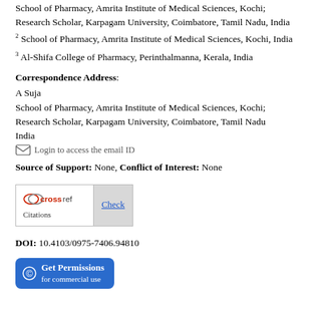School of Pharmacy, Amrita Institute of Medical Sciences, Kochi; Research Scholar, Karpagam University, Coimbatore, Tamil Nadu, India
2 School of Pharmacy, Amrita Institute of Medical Sciences, Kochi, India
3 Al-Shifa College of Pharmacy, Perinthalmanna, Kerala, India
Correspondence Address: A Suja
School of Pharmacy, Amrita Institute of Medical Sciences, Kochi; Research Scholar, Karpagam University, Coimbatore, Tamil Nadu
India
[Figure (other): Email login icon with text: Login to access the email ID]
Source of Support: None, Conflict of Interest: None
[Figure (other): CrossRef Citations badge with Check button]
DOI: 10.4103/0975-7406.94810
[Figure (other): Get Permissions for commercial use button]